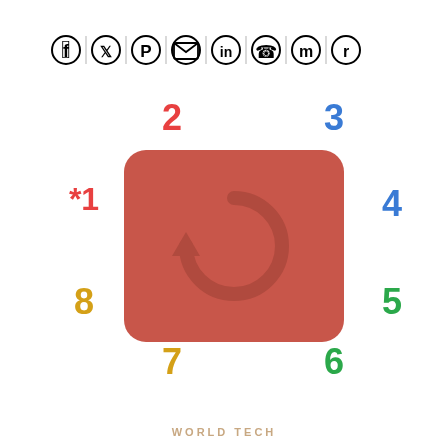[Figure (infographic): Social media share icons row: Facebook, Twitter, Pinterest, Email, LinkedIn, WhatsApp, Messenger, Reddit separated by vertical lines]
[Figure (infographic): A rounded red rectangle with a circular refresh/redo arrow icon in the center, surrounded by numbered labels: *1 (red, left), 2 (red, top-left), 3 (blue, top-right), 4 (blue, right), 5 (green, bottom-right), 6 (green, bottom-right lower), 7 (yellow, bottom-left), 8 (yellow, left-bottom)]
WORLD TECH